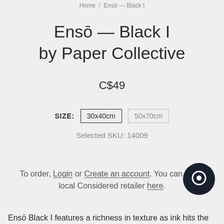Home / Ensō — Black I
Ensō — Black I by Paper Collective
C$49
SIZE: 30x40cm 50x70cm
Selected SKU: 14009
To order, Login or Create an account. You can find a local Considered retailer here.
Ensō Black I features a richness in texture as ink hits the